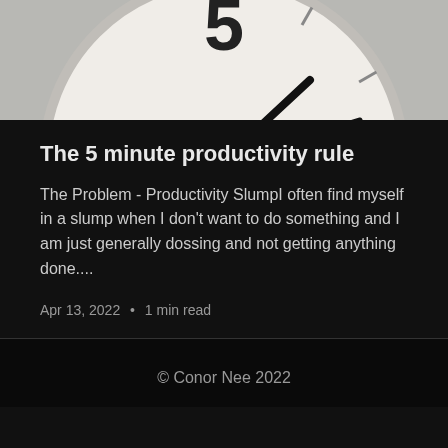[Figure (photo): Close-up photo of a clock face showing numbers 3, 4, and 5 area with clock hands, white clock face with black numerals on a light gray background]
The 5 minute productivity rule
The Problem - Productivity SlumpI often find myself in a slump when I don't want to do something and I am just generally dossing and not getting anything done....
Apr 13, 2022 • 1 min read
© Conor Nee 2022